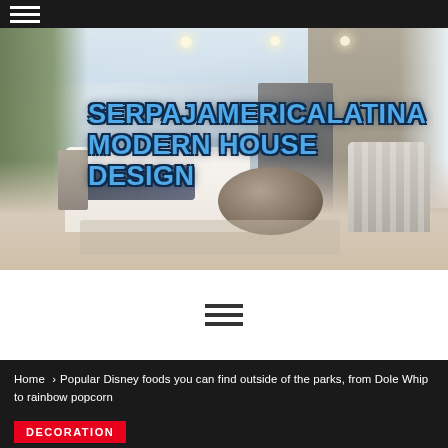≡ (hamburger menu icon)
[Figure (photo): Modern luxury living room interior with white sofas, round wooden coffee table, floor-to-ceiling windows, wooden wall panel, staircase in background. Text overlay reads: SERPAJAMERICALATINA MODERN HOUSE DESIGN in blue bold lettering.]
SERPAJAMERICALATINA MODERN HOUSE DESIGN
[Figure (other): Hamburger menu icon (three horizontal lines) centered on white background]
Home › Popular Disney foods you can find outside of the parks, from Dole Whip to rainbow popcorn
DECORATION